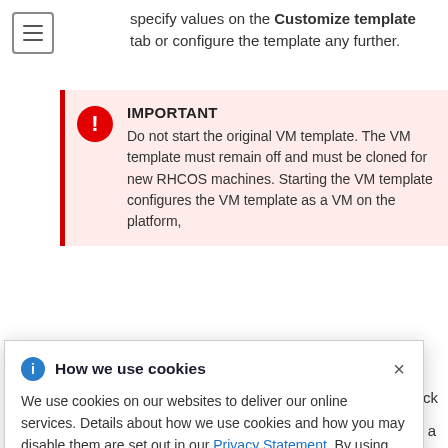specify values on the Customize template tab or configure the template any further.
IMPORTANT
Do not start the original VM template. The VM template must remain off and must be cloned for new RHCOS machines. Starting the VM template configures the VM template as a VM on the platform, being used as sets can
VM for a
and click Clone → Clone to Virtual Machine
How we use cookies
We use cookies on our websites to deliver our online services. Details about how we use cookies and how you may disable them are set out in our Privacy Statement. By using this website you agree to our use of cookies.